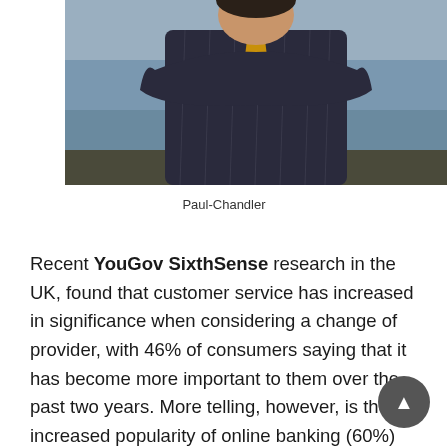[Figure (photo): A man in a dark navy pinstripe suit with a yellow/gold tie standing outdoors near water]
Paul-Chandler
Recent YouGov SixthSense research in the UK, found that customer service has increased in significance when considering a change of provider, with 46% of consumers saying that it has become more important to them over the past two years. More telling, however, is the increased popularity of online banking (60%) over the same period.
The report also shows that retail banking